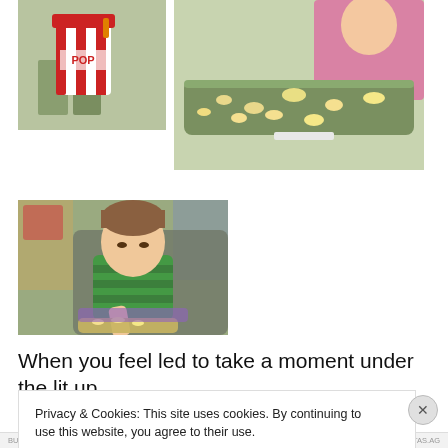[Figure (photo): Top-left photo: person holding a red and white striped popcorn bucket/bag, showing legs and lower body in outdoor setting]
[Figure (photo): Top-right photo: high chair tray covered with popcorn, with a child in pink shirt visible in background]
[Figure (photo): Bottom-left photo: young toddler in green striped shirt sitting in a stroller, looking down and eating popcorn from tray]
When you feel led to take a moment under the lit up midway, to breath a prayer of thanksgiving and ask special
Privacy & Cookies: This site uses cookies. By continuing to use this website, you agree to their use.
To find out more, including how to control cookies, see here: Cookie Policy
Close and accept